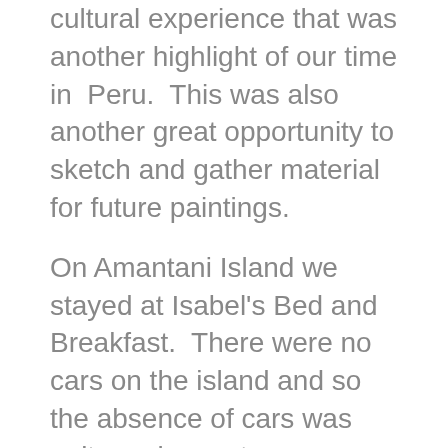cultural experience that was another highlight of our time in Peru. This was also another great opportunity to sketch and gather material for future paintings.
On Amantani Island we stayed at Isabel's Bed and Breakfast. There were no cars on the island and so the absence of cars was quite a pleasant experience. People live a traditional life style of fishing and farming the land. This was another one of those places I could go and paint for the summer that is like going back in time. It reminded me of the Mediterranean in that it was arid and rocky, plus it was hot during the day. At the time that we were there they were building a hospital on the island and so things may have changed a little since our visit.
As part of this excursion we spent the following day exploring Taquile Island as well as visiting The Uros, a